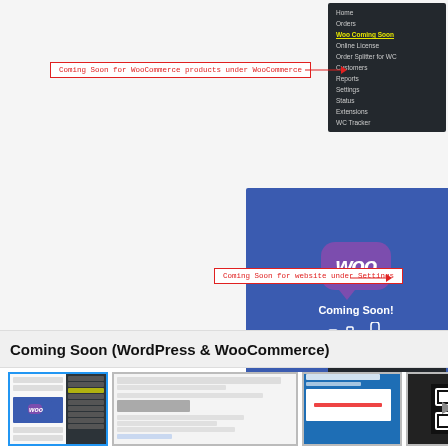[Figure (screenshot): Screenshot showing WordPress/WooCommerce admin interface with annotated callout boxes and arrows pointing to menu locations. Top callout reads 'Coming Soon for WooCommerce products under WooCommerce' pointing to WooCommerce menu. Center shows WooCommerce Coming Soon plugin logo (blue background, purple WOO speech bubble). Bottom callout reads 'Coming Soon for website under Settings' pointing to Settings menu.]
Coming Soon for WooCommerce products under WooCommerce
Coming Soon for website under Settings
Coming Soon (WordPress & WooCommerce)
[Figure (screenshot): Thumbnail 1: Plugin overview screenshot showing split layout with WooCommerce Coming Soon logo and dark admin menu sidebar]
[Figure (screenshot): Thumbnail 2: Wide screenshot showing plugin settings page]
[Figure (screenshot): Thumbnail 3: Screenshot showing plugin admin panel with blue header]
[Figure (screenshot): Thumbnail 4: Screenshot showing QR code on dark background]